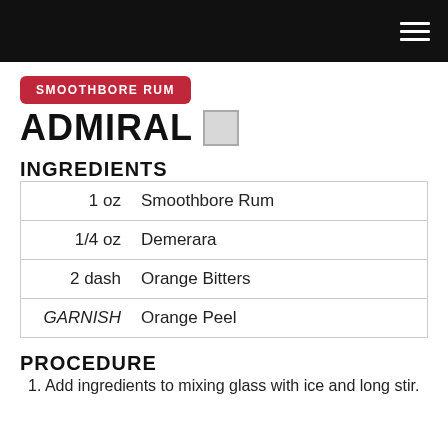SMOOTHBORE RUM
ADMIRAL
INGREDIENTS
| Amount | Ingredient |
| --- | --- |
| 1 oz | Smoothbore Rum |
| 1/4 oz | Demerara |
| 2 dash | Orange Bitters |
| GARNISH | Orange Peel |
PROCEDURE
1. Add ingredients to mixing glass with ice and long stir.